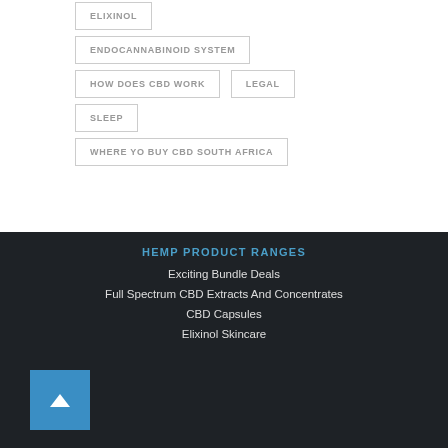ELIXINOL
ENDOCANNABINOID SYSTEM
HOW DOES CBD WORK
LEGAL
SLEEP
WHERE YO BUY CBD SOUTH AFRICA
HEMP PRODUCT RANGES
Exciting Bundle Deals
Full Spectrum CBD Extracts And Concentrates
CBD Capsules
Elixinol Skincare